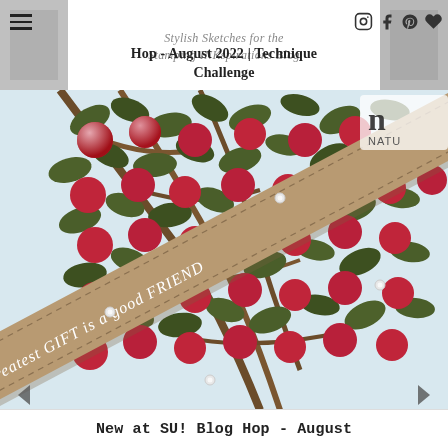Stylish Sketches for the Stamping INKspirations Blog
Hop - August 2022 | Technique Challenge
[Figure (photo): Close-up photo of a handmade stamping card featuring red apples and green leaves on branches against a light blue background, with a diagonal kraft paper ribbon reading 'The greatest GIFT is a good FRIEND'. Small pearl embellishments are scattered on the card. Partially visible stamp logo 'NATU' in upper right corner.]
New at SU! Blog Hop - August